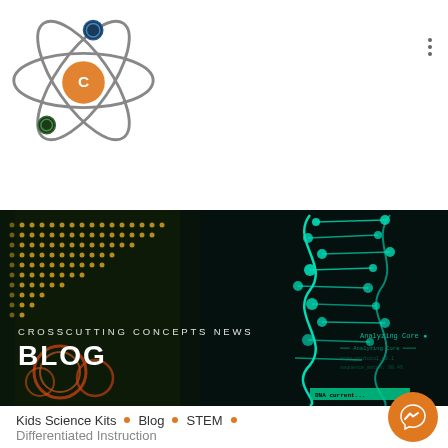[Figure (logo): Crosscutting Concepts atomic orbital logo with orange and dark blue/green circles and grey orbital ellipses]
[Figure (photo): Dark science/technology themed hero image showing glowing teal DNA double helix on right, yellow/orange data visualization grid on left, and dark HUD-style interface elements with text 'Analyzing Core' and 'DNA current']
CROSSCUTTING CONCEPTS NEWS
BLOG
Kids Science Kits • Blog • STEM •
Differentiated Instruction